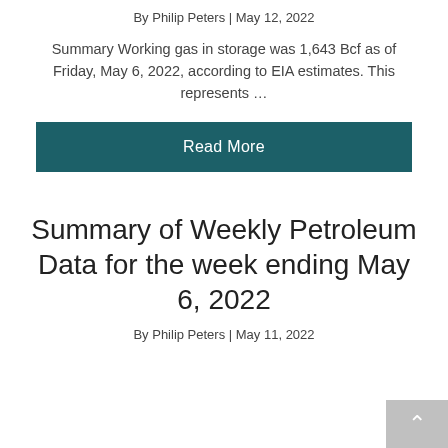By Philip Peters | May 12, 2022
Summary Working gas in storage was 1,643 Bcf as of Friday, May 6, 2022, according to EIA estimates. This represents …
Read More
Summary of Weekly Petroleum Data for the week ending May 6, 2022
By Philip Peters | May 11, 2022